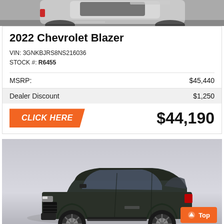[Figure (photo): Partial view of a white Chevrolet Blazer SUV from above/behind, on a gray road background]
2022 Chevrolet Blazer
VIN: 3GNKBJRS8NS216036
STOCK #: R6455
| MSRP: | $45,440 |
| Dealer Discount | $1,250 |
CLICK HERE   $44,190
[Figure (photo): Dark green/black Chevrolet Equinox SUV shown in 3/4 front view on a gray gradient background]